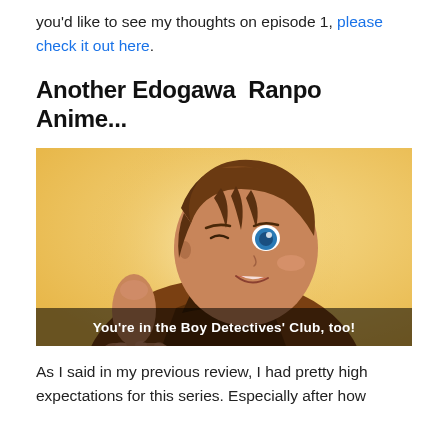you'd like to see my thoughts on episode 1, please check it out here.
Another Edogawa  Ranpo Anime...
[Figure (illustration): Anime screenshot showing a male character giving a thumbs up with a winking expression, wearing a brown jacket. Subtitle reads: You're in the Boy Detectives' Club, too!]
As I said in my previous review, I had pretty high expectations for this series. Especially after how